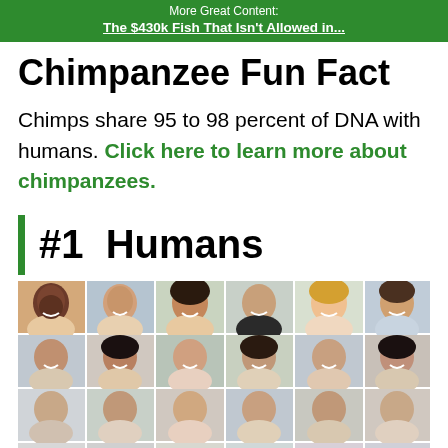More Great Content: The $430k Fish That Isn't Allowed in...
Chimpanzee Fun Fact
Chimps share 95 to 98 percent of DNA with humans. Click here to learn more about chimpanzees.
#1 Humans
[Figure (photo): Grid of human face portraits showing diverse people smiling, arranged in rows and columns, partially cut off at bottom]